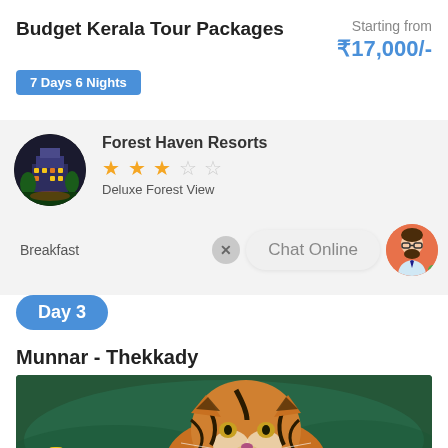Budget Kerala Tour Packages
7 Days 6 Nights
Starting from ₹17,000/-
[Figure (photo): Forest Haven Resorts circular thumbnail with a lit building at night]
Forest Haven Resorts
★★★☆☆ Deluxe Forest View
Breakfast
Chat Online
Day 3
Munnar - Thekkady
[Figure (photo): A tiger swimming/sitting in green water, close-up portrait shot]